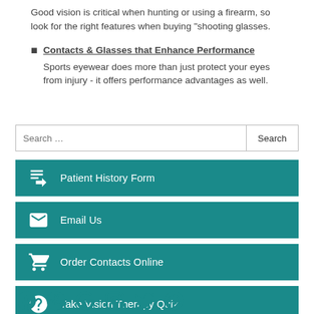Good vision is critical when hunting or using a firearm, so look for the right features when buying "shooting glasses.
Contacts & Glasses that Enhance Performance — Sports eyewear does more than just protect your eyes from injury - it offers performance advantages as well.
Search …
Patient History Form
Email Us
Order Contacts Online
Take Vision Therapy Quiz
[Figure (illustration): Social media icons row: Facebook, Yelp, Google, Instagram, Twitter, Pinterest — all in teal color]